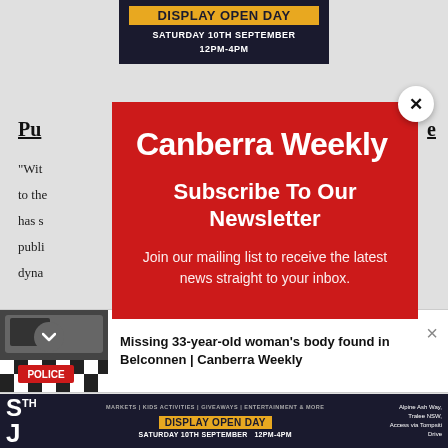[Figure (screenshot): Top banner advertisement for Display Open Day, Saturday 10th September 12PM-4PM, dark background with gold text]
Pu[blic article title partially obscured]
"Wit[h...] nue to the[...] ive has s[...] st publi[...] dyna[...] aller
[Figure (screenshot): Red modal popup overlay for Canberra Weekly newsletter subscription with close button (X)]
Canberra Weekly
Subscribe To Our Newsletter
Join our mailing list to receive the latest news straight to your inbox.
[Figure (screenshot): Notification bar at bottom showing police car image and headline: Missing 33-year-old woman's body found in Belconnen | Canberra Weekly]
Missing 33-year-old woman's body found in Belconnen | Canberra Weekly
[Figure (screenshot): Bottom banner advertisement: Markets | Kids Activities | Giveaways | Entertainment & More, Display Open Day, Saturday 10th September 12PM-4PM, Alpine Ash Way, Tralee NSW, Access via Tompsiti Drive]